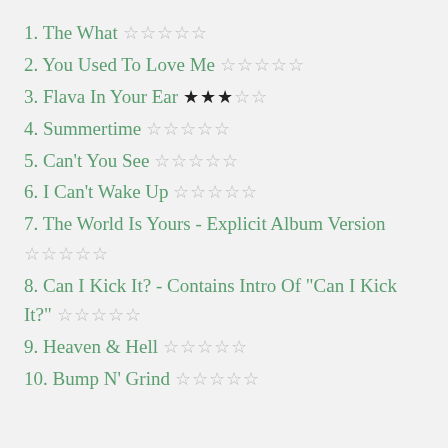1. The What ☆☆☆☆☆
2. You Used To Love Me ☆☆☆☆☆
3. Flava In Your Ear ★★★☆☆
4. Summertime ☆☆☆☆☆
5. Can't You See ☆☆☆☆☆
6. I Can't Wake Up ☆☆☆☆☆
7. The World Is Yours - Explicit Album Version ☆☆☆☆☆
8. Can I Kick It? - Contains Intro Of "Can I Kick It?" ☆☆☆☆☆
9. Heaven & Hell ☆☆☆☆☆
10. Bump N' Grind ☆☆☆☆☆